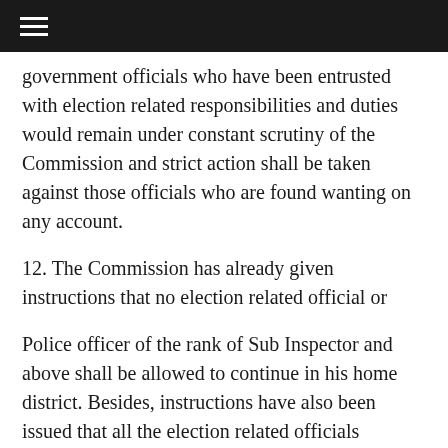government officials who have been entrusted with election related responsibilities and duties would remain under constant scrutiny of the Commission and strict action shall be taken against those officials who are found wanting on any account.
12. The Commission has already given instructions that no election related official or
Police officer of the rank of Sub Inspector and above shall be allowed to continue in his home district. Besides, instructions have also been issued that all the election related officials including the police officials who have completed three years in a district during last four years should be transferred out of